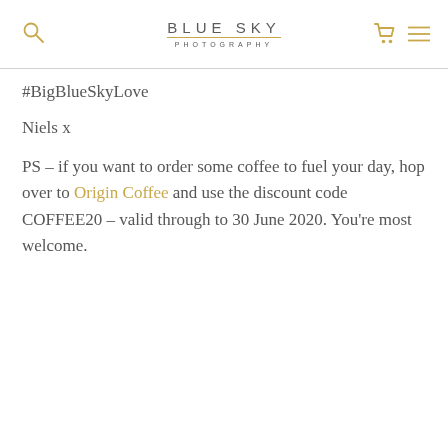BLUE SKY PHOTOGRAPHY
#BigBlueSkyLove
Niels x
PS – if you want to order some coffee to fuel your day, hop over to Origin Coffee and use the discount code COFFEE20 – valid through to 30 June 2020. You're most welcome.